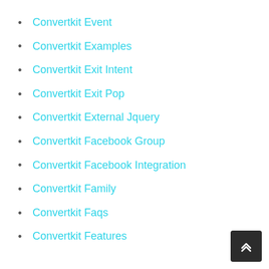Convertkit Event
Convertkit Examples
Convertkit Exit Intent
Convertkit Exit Pop
Convertkit External Jquery
Convertkit Facebook Group
Convertkit Facebook Integration
Convertkit Family
Convertkit Faqs
Convertkit Features